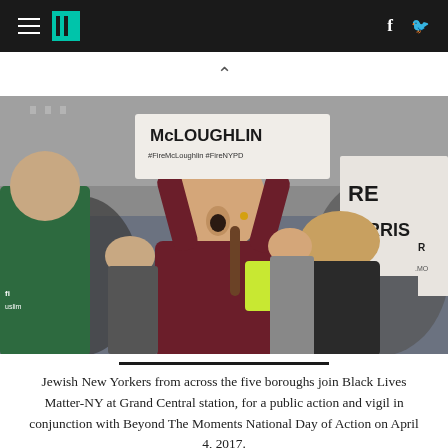HuffPost navigation bar with hamburger menu, logo, Facebook and Twitter icons
[Figure (photo): Protest scene at Grand Central station. A young woman in a dark maroon jacket holds up a sign reading 'McLOUGHLIN #FireMcLoughlin #FireNYPD' above her head while shouting. Behind her are more protesters and signs including 'RE NORRIS'. To the left, protesters in green jackets. Urban building backdrop.]
Jewish New Yorkers from across the five boroughs join Black Lives Matter-NY at Grand Central station, for a public action and vigil in conjunction with Beyond The Moments National Day of Action on April 4, 2017.